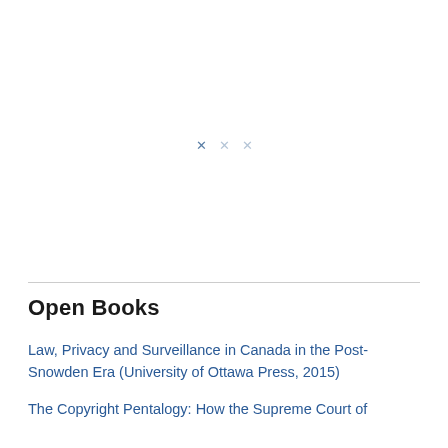[Figure (other): Decorative ornament: three small x-shaped marks, the leftmost darker and the others lighter/faded, centered in the upper half of the page]
Open Books
Law, Privacy and Surveillance in Canada in the Post-Snowden Era (University of Ottawa Press, 2015)
The Copyright Pentalogy: How the Supreme Court of